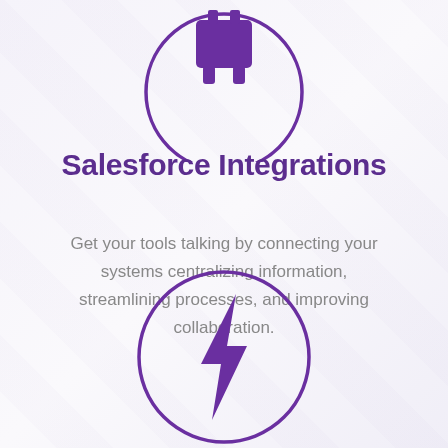[Figure (illustration): Purple circle outline with a purple plug/connector icon inside, partially cropped at top of page]
Salesforce Integrations
Get your tools talking by connecting your systems centralizing information, streamlining processes, and improving collaboration.
[Figure (illustration): Purple circle outline with a purple lightning bolt icon inside]